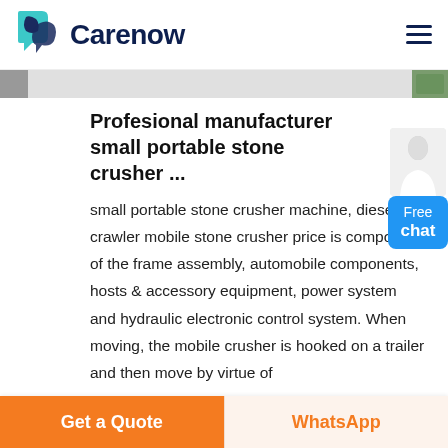[Figure (logo): Carenow logo with teal leaf/shield icon and dark blue bold text 'Carenow']
Profesional manufacturer small portable stone crusher ...
small portable stone crusher machine, diesel crawler mobile stone crusher price is composed of the frame assembly, automobile components, hosts & accessory equipment, power system and hydraulic electronic control system. When moving, the mobile crusher is hooked on a trailer and then move by virtue of
Get a Quote
WhatsApp